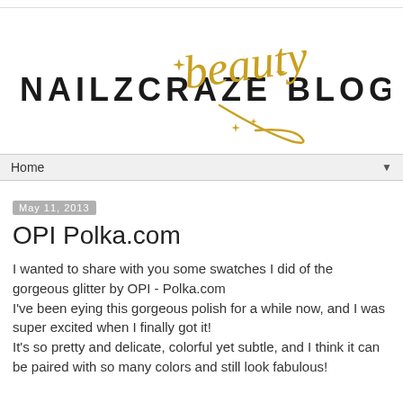[Figure (logo): NAILZCRAZE beauty BLOG logo — 'NAILZCRAZE' and 'BLOG' in black spaced uppercase letters, 'beauty' in gold cursive script with sparkle/diamond decorative elements]
Home ▼
May 11, 2013
OPI Polka.com
I wanted to share with you some swatches I did of the gorgeous glitter by OPI - Polka.com
I've been eying this gorgeous polish for a while now, and I was super excited when I finally got it!
It's so pretty and delicate, colorful yet subtle, and I think it can be paired with so many colors and still look fabulous!